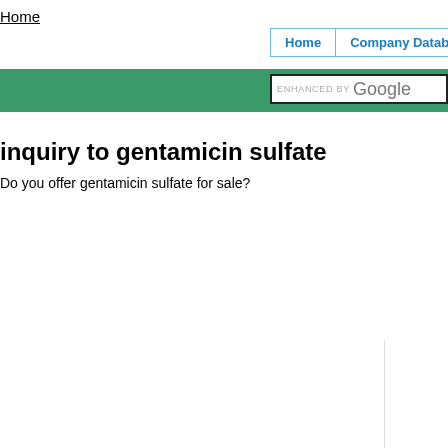Home
Home | Company Database
inquiry to gentamicin sulfate
Do you offer gentamicin sulfate for sale?